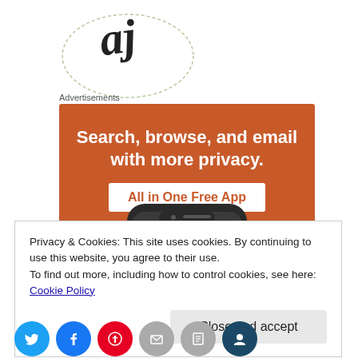[Figure (logo): Handwritten 'aj' script logo inside a circular decorative border]
Advertisements
[Figure (infographic): Orange advertisement banner reading 'Search, browse, and email with more privacy. All in One Free App' with a phone mockup showing a browser app icon]
Privacy & Cookies: This site uses cookies. By continuing to use this website, you agree to their use.
To find out more, including how to control cookies, see here: Cookie Policy
Close and accept
[Figure (illustration): Row of social sharing icons: Twitter (blue), Facebook (blue), Pinterest (red), email (grey), print (grey), and another (dark teal)]